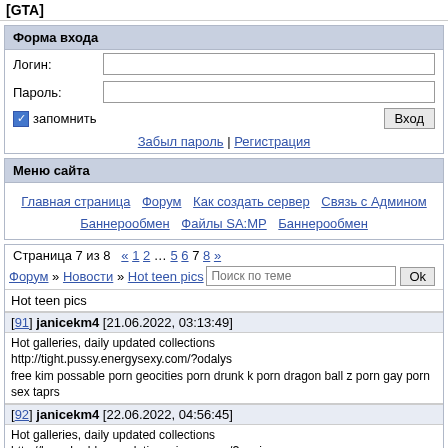[GTA]
Форма входа
Логин:
Пароль:
запомнить
Вход
Забыл пароль | Регистрация
Меню сайта
Главная страница
Форум
Как создать сервер
Связь с Админом
Баннерообмен
Файлы SA:MP
Баннерообмен
Страница 7 из 8  « 1 2 … 5 6 7 8 »
Форум » Новости » Hot teen pics
Hot teen pics
[91] janicekm4 [21.06.2022, 03:13:49]
Hot galleries, daily updated collections
http://tight.pussy.energysexy.com/?odalys
free kim possable porn geocities porn drunk k porn dragon ball z porn gay porn sex taprs
[92] janicekm4 [22.06.2022, 04:56:45]
Hot galleries, daily updated collections
http://herscherbbwpornlatina.miaxxx.com/?angie
professors vintage porn free virus creates shortcuts to porn sites mandi porn girls with plush fetish free porn free streaming porn for mobile
[93] janicekm4 [22.06.2022, 05:00:20]